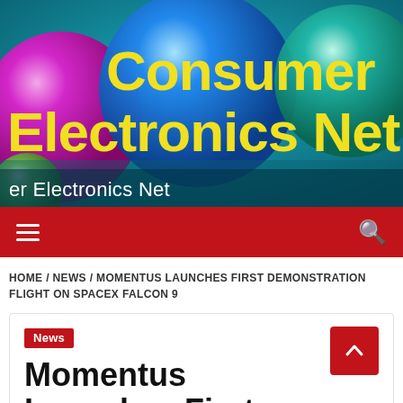[Figure (illustration): Consumer Electronics Net website header banner with colorful 3D spheres (magenta, blue, teal/green) on a teal gradient background, with large yellow bold text reading 'Consumer Electronics Net' and white subtitle text 'er Electronics Net' overlaid on a dark transparent bar.]
er Electronics Net
Consumer Electronics Net
HOME / NEWS / MOMENTUS LAUNCHES FIRST DEMONSTRATION FLIGHT ON SPACEX FALCON 9
News
Momentus Launches First Demonstration